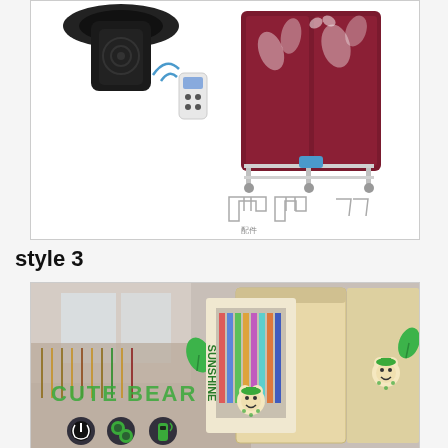[Figure (photo): Product image of an electric clothes dryer cabinet in dark red/maroon color with leaf pattern, shown with a black air purifier/fan unit, a remote control, and accessory parts (hooks and hangers). White background product shot.]
style 3
[Figure (photo): Product image of a portable clothes wardrobe/closet with cute bear 'SUNSHINE' branding in beige/cream color, shown with clothes hanging inside, and the product box. Background shows a blurred room with clothing racks. Text 'CUTE BEAR' visible in green. Control icons for power, settings, and remote at bottom left.]